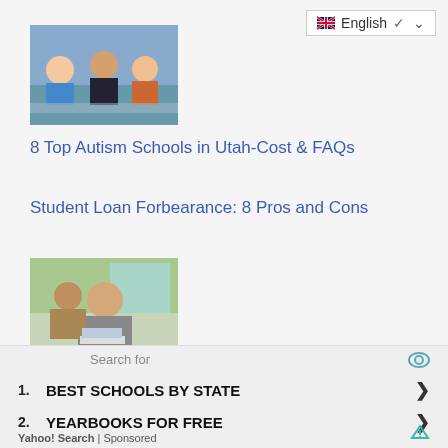[Figure (other): Language selector showing English with UK flag and dropdown chevron]
[Figure (photo): Children with adult looking at a tablet or book, education setting]
8 Top Autism Schools in Utah-Cost & FAQs
Student Loan Forbearance: 8 Pros and Cons
[Figure (photo): Female students working on laptops in a classroom]
80 Best Psychology Schools in Texas:Tuition &10 Top
Search for
1. BEST SCHOOLS BY STATE
2. YEARBOOKS FOR FREE
Yahoo! Search | Sponsored